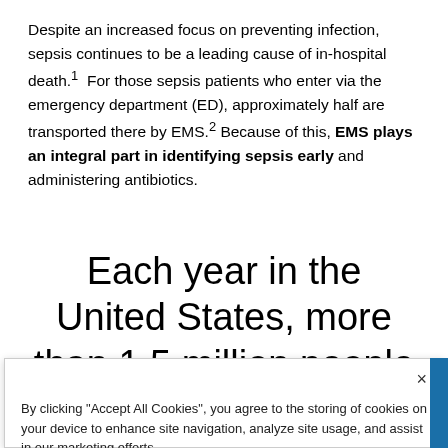Despite an increased focus on preventing infection, sepsis continues to be a leading cause of in-hospital death.1  For those sepsis patients who enter via the emergency department (ED), approximately half are transported there by EMS.2 Because of this, EMS plays an integral part in identifying sepsis early and administering antibiotics.
Each year in the United States, more than 1.5 million people get sepsis and 250,000 people
By clicking "Accept All Cookies", you agree to the storing of cookies on your device to enhance site navigation, analyze site usage, and assist in our marketing efforts.